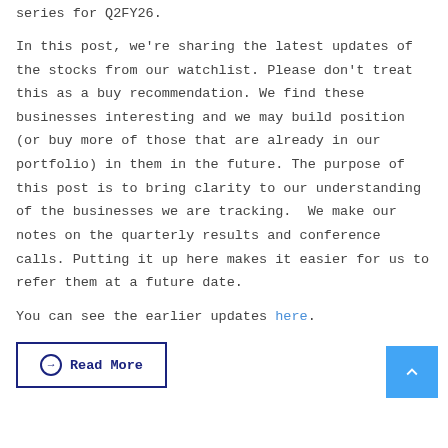series for Q2FY26.
In this post, we're sharing the latest updates of the stocks from our watchlist. Please don't treat this as a buy recommendation. We find these businesses interesting and we may build position (or buy more of those that are already in our portfolio) in them in the future. The purpose of this post is to bring clarity to our understanding of the businesses we are tracking.  We make our notes on the quarterly results and conference calls. Putting it up here makes it easier for us to refer them at a future date.
You can see the earlier updates here.
Read More